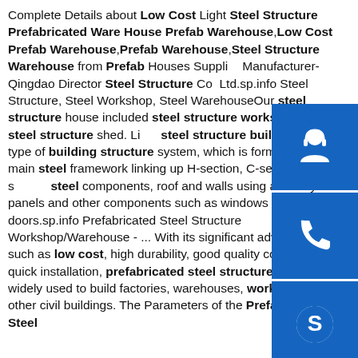Complete Details about Low Cost Light Steel Structure Prefabricated Ware House Prefab Warehouse,Low Cost Prefab Warehouse,Prefab Warehouse,Steel Structure Warehouse from Prefab Houses Supplier Manufacturer-Qingdao Director Steel Structure Co., Ltd.sp.info Steel Structure, Steel Workshop, Steel WarehouseOur steel structure house included steel structure workshop and steel structure shed. Light steel structure building is a new type of building structure system, which is formed by the main steel framework linking up H-section, C-section, and U-section steel components, roof and walls using a variety of panels and other components such as windows and doors.sp.info Prefabricated Steel Structure Workshop/Warehouse - ... With its significant advantages such as low cost, high durability, good quality control and quick installation, prefabricated steel structures have been widely used to build factories, warehouses, workshop and other civil buildings. The Parameters of the Prefabricated Steel
[Figure (other): Three blue icon buttons on the right side: headset/customer service icon, phone icon, and Skype icon]